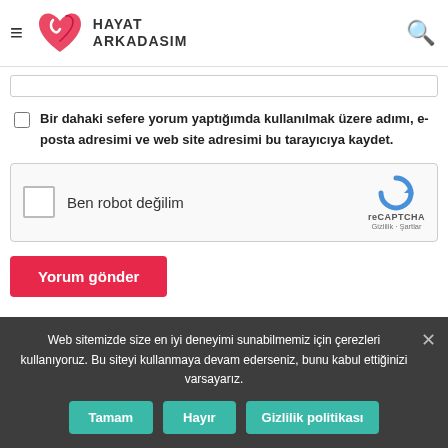HAYAT ARKADASIM
Bir dahaki sefere yorum yaptığımda kullanılmak üzere adımı, e-posta adresimi ve web site adresimi bu tarayıcıya kaydet.
[Figure (other): reCAPTCHA widget with checkbox labeled Ben robot değilim]
Yorum gönder
Web sitemizde size en iyi deneyimi sunabilmemiz için çerezleri kullanıyoruz. Bu siteyi kullanmaya devam ederseniz, bunu kabul ettiğinizi varsayarız.
Tamam  Hayır  Gizlilik politikası